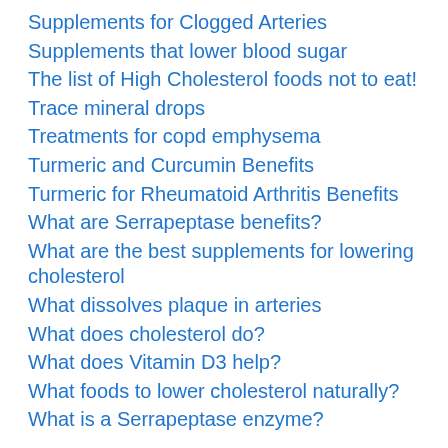Supplements for Clogged Arteries
Supplements that lower blood sugar
The list of High Cholesterol foods not to eat!
Trace mineral drops
Treatments for copd emphysema
Turmeric and Curcumin Benefits
Turmeric for Rheumatoid Arthritis Benefits
What are Serrapeptase benefits?
What are the best supplements for lowering cholesterol
What dissolves plaque in arteries
What does cholesterol do?
What does Vitamin D3 help?
What foods to lower cholesterol naturally?
What is a Serrapeptase enzyme?